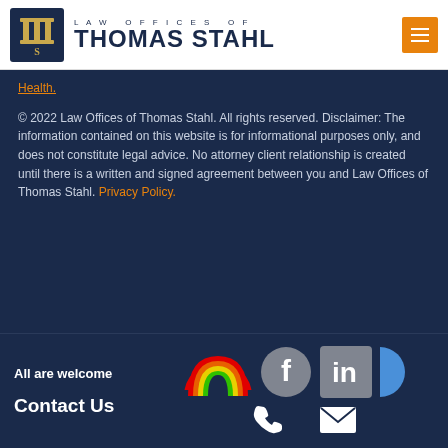[Figure (logo): Law Offices of Thomas Stahl logo with column icon and menu button]
Health.
© 2022 Law Offices of Thomas Stahl. All rights reserved. Disclaimer: The information contained on this website is for informational purposes only, and does not constitute legal advice. No attorney client relationship is created until there is a written and signed agreement between you and Law Offices of Thomas Stahl. Privacy Policy.
All are welcome
Contact Us
[Figure (illustration): Rainbow pride icon, Facebook icon, LinkedIn icon, and partial blue icon; phone icon and email icon]